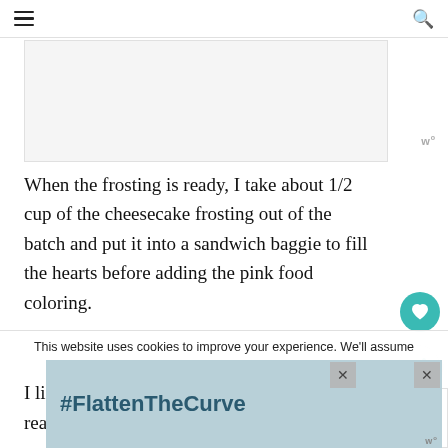[Figure (photo): Partial photo placeholder at top of article]
When the frosting is ready, I take about 1/2 cup of the cheesecake frosting out of the batch and put it into a sandwich baggie to fill the hearts before adding the pink food coloring.
I like to whip it for an additional 5-7 mi...
really make it fluffy and light. I added ...
WHAT'S NEXT → Peppermint Swirl Red...
This website uses cookies to improve your experience. We'll assume
[Figure (screenshot): #FlattenTheCurve ad banner with hand washing image]